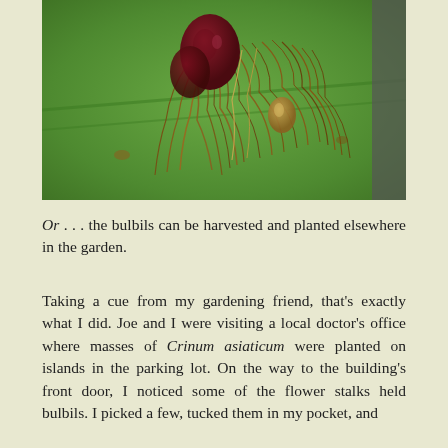[Figure (photo): Close-up photograph of plant bulbils with dark reddish-maroon bulbs and a tangle of dried brown roots, resting on a green leaf background.]
Or . . . the bulbils can be harvested and planted elsewhere in the garden.
Taking a cue from my gardening friend, that's exactly what I did. Joe and I were visiting a local doctor's office where masses of Crinum asiaticum were planted on islands in the parking lot. On the way to the building's front door, I noticed some of the flower stalks held bulbils. I picked a few, tucked them in my pocket, and